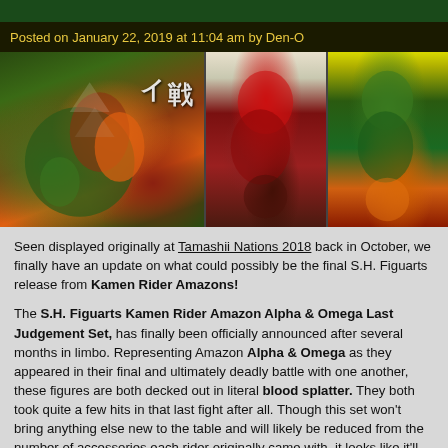Posted on January 22, 2019 at 11:04 am by Den-O
[Figure (photo): Three photos of S.H. Figuarts figures: left shows a large dynamic pose of Amazon figures with green and orange colors, center shows a red blood-splattered Amazon Alpha figure, right shows Amazon Omega figure in green and orange.]
Seen displayed originally at Tamashii Nations 2018 back in October, we finally have an update on what could possibly be the final S.H. Figuarts release from Kamen Rider Amazons!

The S.H. Figuarts Kamen Rider Amazon Alpha & Omega Last Judgement Set, has finally been officially announced after several months in limbo. Representing Amazon Alpha & Omega as they appeared in their final and ultimately deadly battle with one another, these figures are both decked out in literal blood splatter. They both took quite a few hits in that last fight after all. Though this set won't bring anything else new to the table and will likely be reduced from the number of accessories each rider originally came with, it looks like it'll be a great addition to any Amazons collection.

The Alpha & Omega Last Judgement set will be released in July 2019 for 11, 880 yen as a Tamashii Web Exclusive. If you want to procure an order for this set, it's best to keep an eye out with your preferred middleman service or seller in the near future.